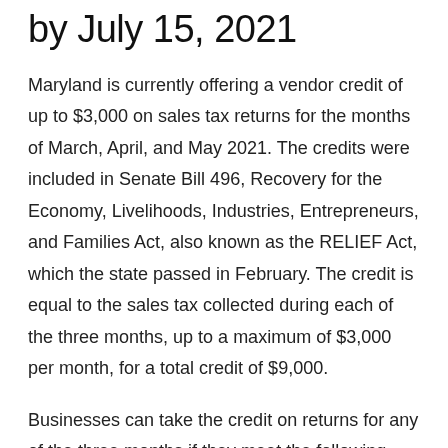by July 15, 2021
Maryland is currently offering a vendor credit of up to $3,000 on sales tax returns for the months of March, April, and May 2021. The credits were included in Senate Bill 496, Recovery for the Economy, Livelihoods, Industries, Entrepreneurs, and Families Act, also known as the RELIEF Act, which the state passed in February. The credit is equal to the sales tax collected during each of the three months, up to a maximum of $3,000 per month, for a total credit of $9,000.
Businesses can take the credit on returns for any of the three months if they meet the following requirements: